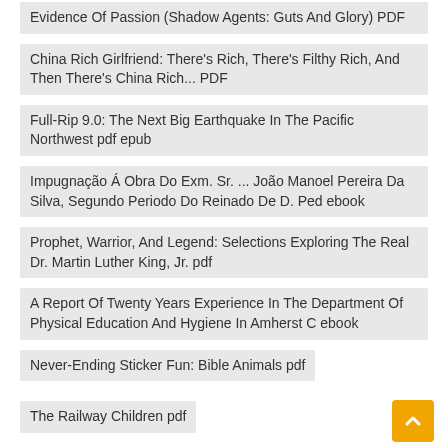Evidence Of Passion (Shadow Agents: Guts And Glory) PDF
China Rich Girlfriend: There's Rich, There's Filthy Rich, And Then There's China Rich... PDF
Full-Rip 9.0: The Next Big Earthquake In The Pacific Northwest pdf epub
Impugnação Á Obra Do Exm. Sr. ... João Manoel Pereira Da Silva, Segundo Periodo Do Reinado De D. Ped ebook
Prophet, Warrior, And Legend: Selections Exploring The Real Dr. Martin Luther King, Jr. pdf
A Report Of Twenty Years Experience In The Department Of Physical Education And Hygiene In Amherst C ebook
Never-Ending Sticker Fun: Bible Animals pdf
The Railway Children pdf
Life On The Wire: Avoid Burnout And Succeed In Work And Life PDF